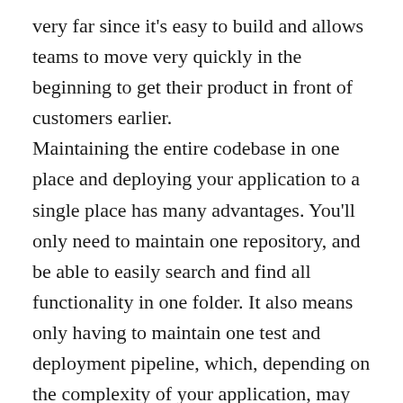very far since it's easy to build and allows teams to move very quickly in the beginning to get their product in front of customers earlier.
Maintaining the entire codebase in one place and deploying your application to a single place has many advantages. You'll only need to maintain one repository, and be able to easily search and find all functionality in one folder. It also means only having to maintain one test and deployment pipeline, which, depending on the complexity of your application, may avoid a lot of overhead. These pipelines can be expensive to create, customize, and maintain because it takes concerted effort to ensure